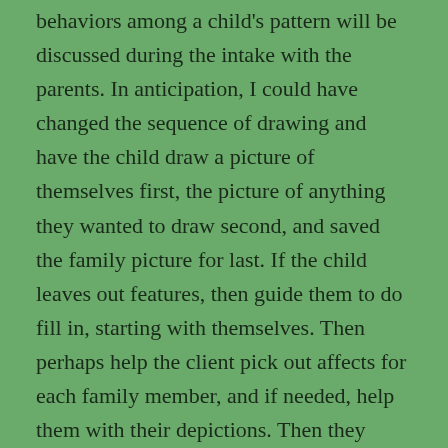behaviors among a child's pattern will be discussed during the intake with the parents. In anticipation, I could have changed the sequence of drawing and have the child draw a picture of themselves first, the picture of anything they wanted to draw second, and saved the family picture for last. If the child leaves out features, then guide them to do fill in, starting with themselves. Then perhaps help the client pick out affects for each family member, and if needed, help them with their depictions. Then they could even develop a story about a family experience or adventure, and draw in a background. If the child is OCD-like, is accepting of me, and is invested in the drawing, this clinical intervention will begin to expand their sense-of-other, and set a precedent for doing so later in the therapy process. The problem is that the parents won't see the